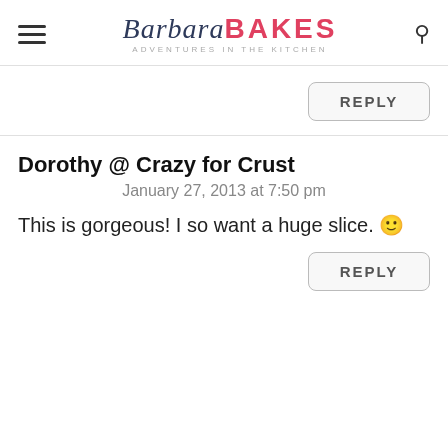Barbara BAKES — ADVENTURES in the KITCHEN
REPLY
Dorothy @ Crazy for Crust
January 27, 2013 at 7:50 pm
This is gorgeous! I so want a huge slice. 🙂
REPLY